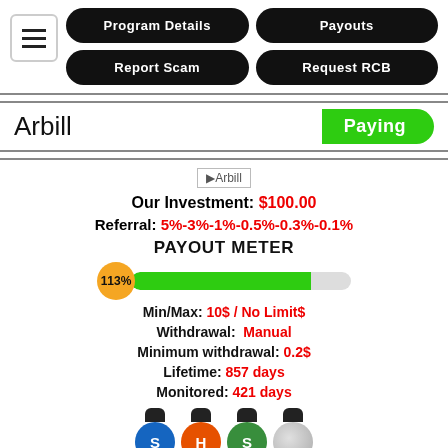Program Details
Payouts
Report Scam
Request RCB
Arbill
Paying
Our Investment: $100.00
Referral: 5%-3%-1%-0.5%-0.3%-0.1%
PAYOUT METER
113%
Min/Max: 10$ / No Limit$
Withdrawal: Manual
Minimum withdrawal: 0.2$
Lifetime: 857 days
Monitored: 421 days
[Figure (illustration): Payment processor icons: SolidTrustPay (S), Hyphen (H), GreenStar (S), and silver coin]